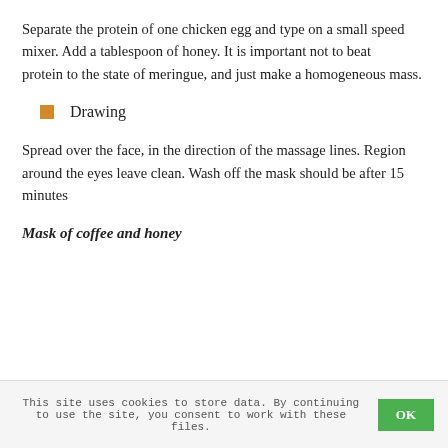Separate the protein of one chicken egg and type on a small speed mixer. Add a tablespoon of honey. It is important not to beat
protein to the state of meringue, and just make a homogeneous mass.
Drawing
Spread over the face, in the direction of the massage lines. Region
around the eyes leave clean. Wash off the mask should be after 15
minutes
Mask of coffee and honey
This site uses cookies to store data. By continuing to use the site, you consent to work with these files. OK